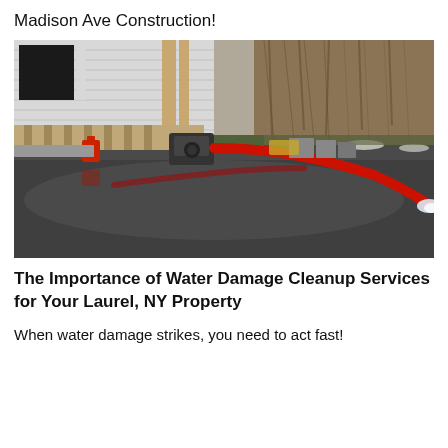Madison Ave Construction!
[Figure (photo): Outdoor flood scene with a red hose pumping water across a flooded driveway or yard. A white house with wooden framing is visible on the left side, along with a red gasoline can and construction equipment. The flooded area reflects surrounding trees. Dead brush and concrete debris visible in background.]
The Importance of Water Damage Cleanup Services for Your Laurel, NY Property
When water damage strikes, you need to act fast!